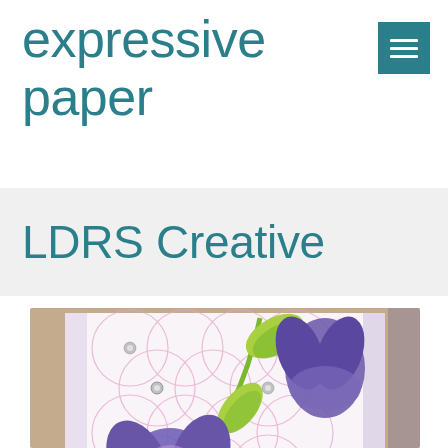expressive paper
LDRS Creative
[Figure (photo): Close-up photo of a handmade greeting card featuring purple die-cut flowers with a flower-of-life embossed background pattern in light pink, green leaves, and metallic gem embellishments on a white card base.]